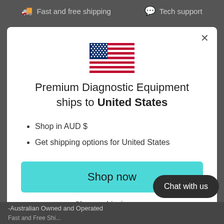Fast and free shipping   Tech support
[Figure (illustration): US flag icon displayed in center of modal]
Premium Diagnostic Equipment ships to United States
Shop in AUD $
Get shipping options for United States
Shop now
Change shipping country
Chat with us
-Australian Owned and Operated